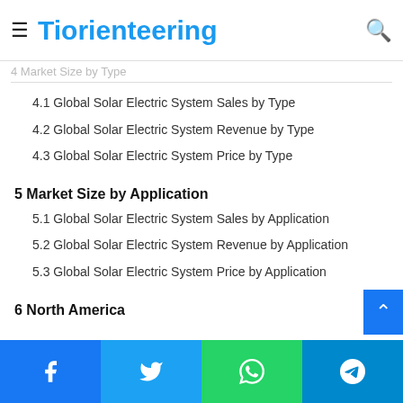Tiorienteering
3.5 Mergers & Acquisitions, Expansion Plans
4 Market Size by Type
4.1 Global Solar Electric System Sales by Type
4.2 Global Solar Electric System Revenue by Type
4.3 Global Solar Electric System Price by Type
5 Market Size by Application
5.1 Global Solar Electric System Sales by Application
5.2 Global Solar Electric System Revenue by Application
5.3 Global Solar Electric System Price by Application
6 North America
7 Europe